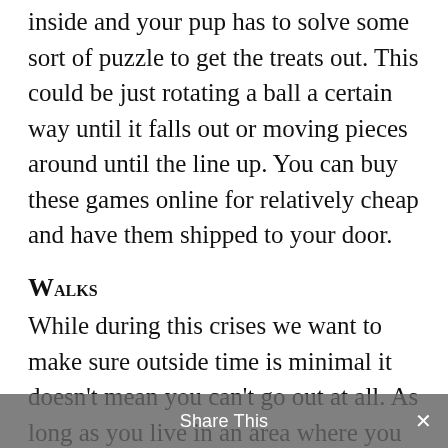inside and your pup has to solve some sort of puzzle to get the treats out. This could be just rotating a ball a certain way until it falls out or moving pieces around until the line up. You can buy these games online for relatively cheap and have them shipped to your door.
Walks
While during this crises we want to make sure outside time is minimal it doesn't mean you can't go out at all. As long as you live in an area where you can walk outside with seeing other people it's great to get out and get some fresh air
Share This